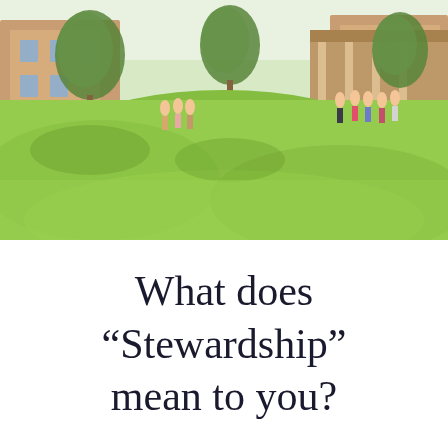[Figure (photo): Outdoor photo of a church or community building courtyard with a large green lawn in the foreground. Several people are gathered near the entrance of a building with trees providing shade. The sky is bright and sunny.]
What does “Stewardship” mean to you?